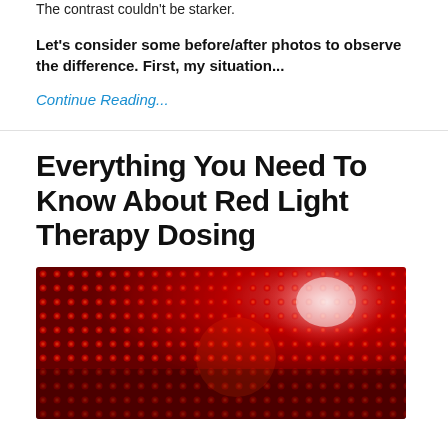The contrast couldn't be starker.
Let's consider some before/after photos to observe the difference. First, my situation...
Continue Reading...
Everything You Need To Know About Red Light Therapy Dosing
[Figure (photo): Close-up photograph of a red LED light therapy panel showing a grid of bright red LEDs against a dark background with a bright light source visible in the upper right.]